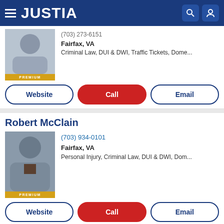JUSTIA
(703) 273-6151
Fairfax, VA
Criminal Law, DUI & DWI, Traffic Tickets, Dome...
Website | Call | Email
Robert McClain
(703) 934-0101
Fairfax, VA
Personal Injury, Criminal Law, DUI & DWI, Dom...
Website | Call | Email
Justia Ask a Lawyer is a forum for consumers to get answers to